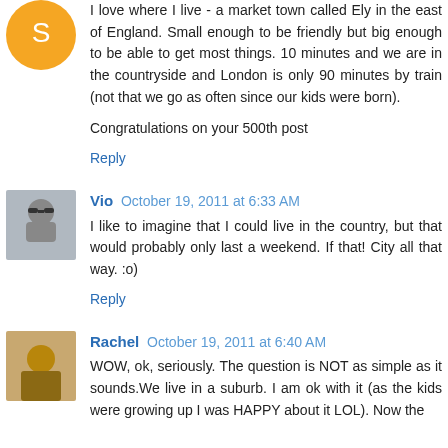I love where I live - a market town called Ely in the east of England. Small enough to be friendly but big enough to be able to get most things. 10 minutes and we are in the countryside and London is only 90 minutes by train (not that we go as often since our kids were born).
Congratulations on your 500th post
Reply
Vio  October 19, 2011 at 6:33 AM
I like to imagine that I could live in the country, but that would probably only last a weekend. If that! City all that way. :o)
Reply
Rachel  October 19, 2011 at 6:40 AM
WOW, ok, seriously. The question is NOT as simple as it sounds.We live in a suburb. I am ok with it (as the kids were growing up I was HAPPY about it LOL). Now the